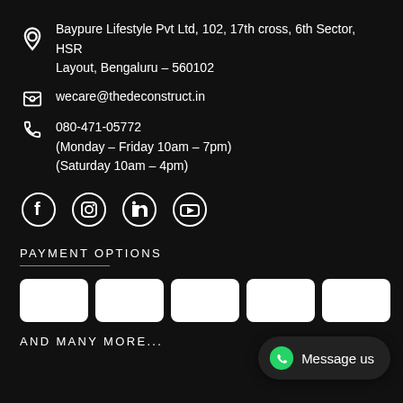Baypure Lifestyle Pvt Ltd, 102, 17th cross, 6th Sector, HSR Layout, Bengaluru – 560102
wecare@thedeconstruct.in
080-471-05772
(Monday – Friday 10am – 7pm)
(Saturday 10am – 4pm)
[Figure (illustration): Social media icons: Facebook, Instagram, LinkedIn, YouTube]
PAYMENT OPTIONS
[Figure (illustration): Five white payment card placeholder boxes]
AND MANY MORE...
Message us